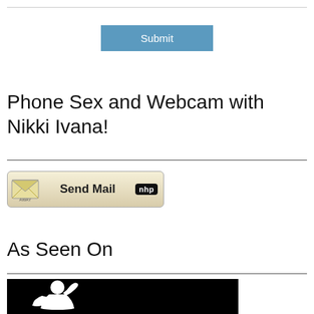Submit
Phone Sex and Webcam with Nikki Ivana!
[Figure (other): Send Mail button with envelope icon and AWAY label and nhp tag]
As Seen On
[Figure (photo): Black background with white silhouette of a woman posing]